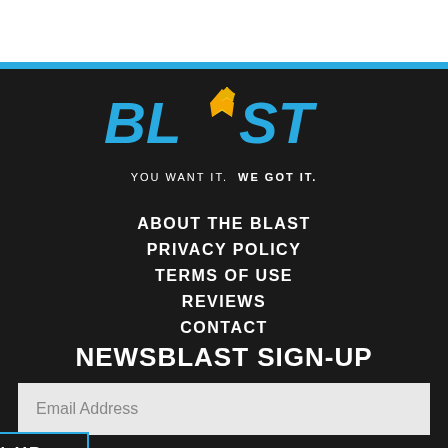[Figure (logo): BLAST logo with yellow star burst and blue text, tagline: YOU WANT IT. WE GOT IT.]
ABOUT THE BLAST
PRIVACY POLICY
TERMS OF USE
REVIEWS
CONTACT
NEWSBLAST SIGN-UP
Email Address
SIGN-UP